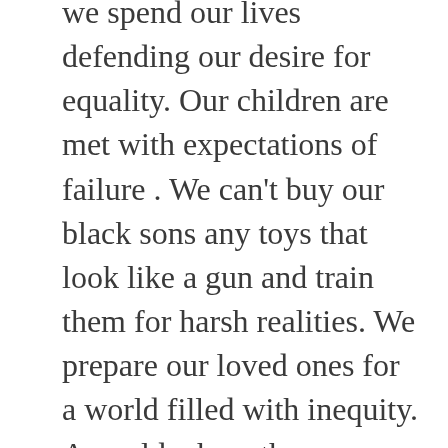we spend our lives defending our desire for equality. Our children are met with expectations of failure . We can't buy our black sons any toys that look like a gun and train them for harsh realities. We prepare our loved ones for a world filled with inequity. A world where they are made to feel smart despite being black,well spoken despite their skin color. I say all this to present that acknowledging that the oppressed matter does not knock the oppressor